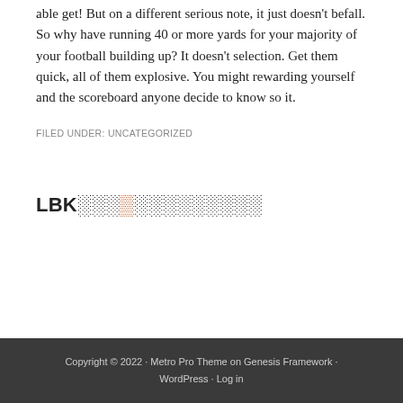able get! But on a different serious note, it just doesn't befall. So why have running 40 or more yards for your majority of your football building up? It doesn't selection. Get them quick, all of them explosive. You might rewarding yourself and the scoreboard anyone decide to know so it.
FILED UNDER: UNCATEGORIZED
LBK███▓████████
Copyright © 2022 · Metro Pro Theme on Genesis Framework · WordPress · Log in